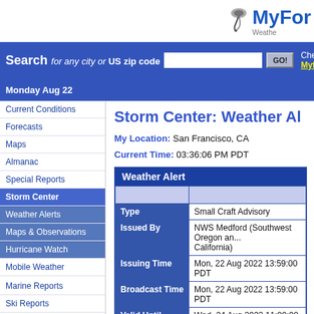[Figure (logo): MyForecast weather website logo with tornado icon]
Search for any city or US zip code [input] GO! Check Myforecast
Monday Aug 22
Storm Center: Weather Al...
My Location: San Francisco, CA
Current Time: 03:36:06 PM PDT
Current Conditions
Forecasts
Maps
Almanac
Special Reports
Storm Center
Weather Alerts
Maps & Observations
Hurricane Watch
Mobile Weather
Marine Reports
Ski Reports
Weather On Your Site
| Weather Alert |  |
| --- | --- |
|  |  |
| Type | Small Craft Advisory |
| Issued By | NWS Medford (Southwest Oregon and... California) |
| Issuing Time | Mon, 22 Aug 2022 13:59:00 PDT |
| Broadcast Time | Mon, 22 Aug 2022 13:59:00 PDT |
| Valid Until | Wed, 24 Aug 2022 11:00:00 PDT |